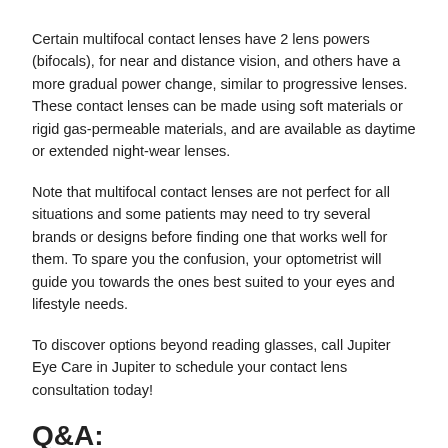Certain multifocal contact lenses have 2 lens powers (bifocals), for near and distance vision, and others have a more gradual power change, similar to progressive lenses. These contact lenses can be made using soft materials or rigid gas-permeable materials, and are available as daytime or extended night-wear lenses.
Note that multifocal contact lenses are not perfect for all situations and some patients may need to try several brands or designs before finding one that works well for them. To spare you the confusion, your optometrist will guide you towards the ones best suited to your eyes and lifestyle needs.
To discover options beyond reading glasses, call Jupiter Eye Care in Jupiter to schedule your contact lens consultation today!
Q&A:
#1: Are there any "cons" related to